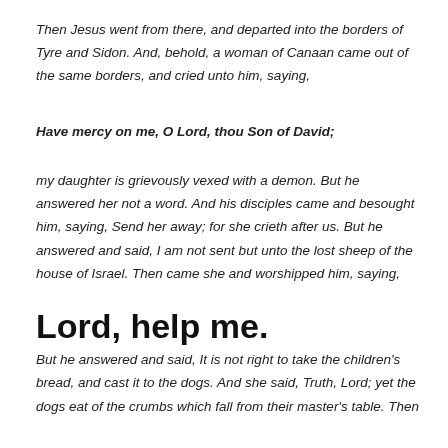Then Jesus went from there, and departed into the borders of Tyre and Sidon. And, behold, a woman of Canaan came out of the same borders, and cried unto him, saying,
Have mercy on me, O Lord, thou Son of David;
my daughter is grievously vexed with a demon. But he answered her not a word. And his disciples came and besought him, saying, Send her away; for she crieth after us. But he answered and said, I am not sent but unto the lost sheep of the house of Israel. Then came she and worshipped him, saying,
Lord, help me.
But he answered and said, It is not right to take the children's bread, and cast it to the dogs. And she said, Truth, Lord; yet the dogs eat of the crumbs which fall from their master's table. Then